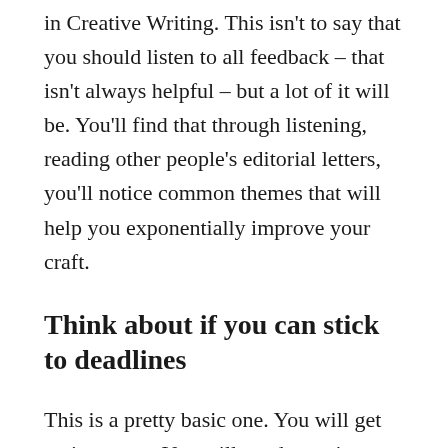in Creative Writing. This isn't to say that you should listen to all feedback – that isn't always helpful – but a lot of it will be. You'll find that through listening, reading other people's editorial letters, you'll notice common themes that will help you exponentially improve your craft.
Think about if you can stick to deadlines
This is a pretty basic one. You will get assignments. You will need to write to deadlines. You will need to craft editorial letters, manuscripts, stories, packets, essays, and eventually a thesis. You will need to deliver presentations, and respond to your